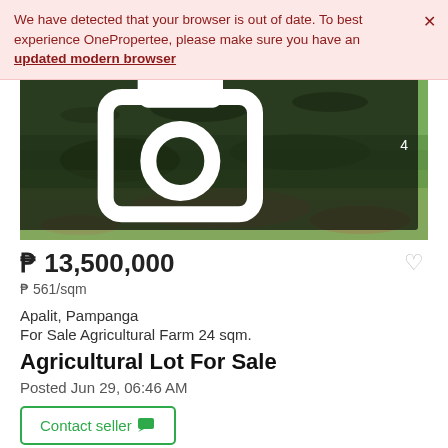We have detected that your browser is out of date. To best experience OnePropertee, please make sure you have an updated modern browser
[Figure (photo): Aerial/ground view of a green agricultural field with grass and soil patches. Image counter showing 4 photos in the bottom-right corner.]
₱ 13,500,000
₱ 561/sqm
Apalit, Pampanga
For Sale Agricultural Farm 24 sqm.
Agricultural Lot For Sale
Posted Jun 29, 06:46 AM
Contact seller